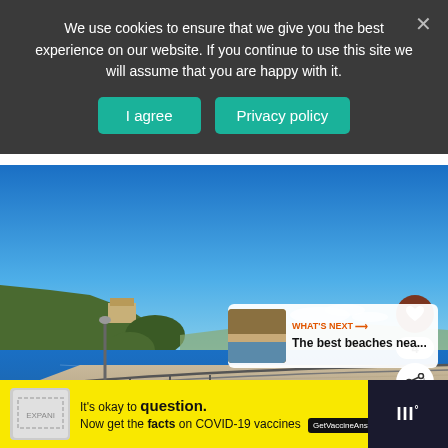We use cookies to ensure that we give you the best experience on our website. If you continue to use this site we will assume that you are happy with it.
I agree
Privacy policy
[Figure (photo): Coastal walkway with stone railing along a blue sea bay, with a hilltop building and village in the background under a clear blue sky.]
WHAT'S NEXT → The best beaches nea...
It's okay to question. Now get the facts on COVID-19 vaccines GetVaccineAnswers.org